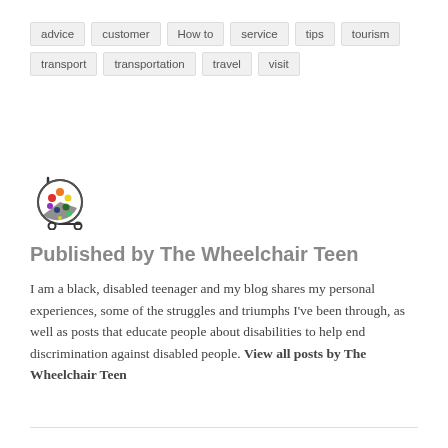advice
customer
How to
service
tips
tourism
transport
transportation
travel
visit
[Figure (logo): Colorful circular logo resembling a film reel or wheelchair symbol with multicolored dots on black and white background]
Published by The Wheelchair Teen
I am a black, disabled teenager and my blog shares my personal experiences, some of the struggles and triumphs I've been through, as well as posts that educate people about disabilities to help end discrimination against disabled people. View all posts by The Wheelchair Teen